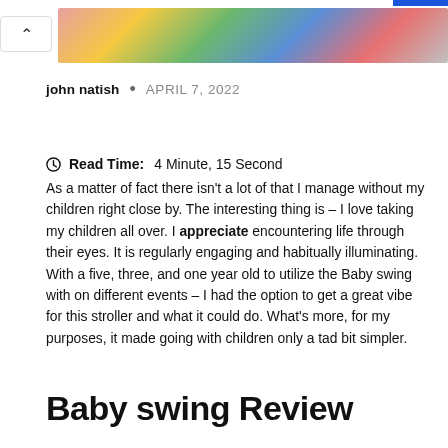[Figure (photo): Colorful baby/children themed image at the top of the page, partially visible]
john natish  •  APRIL 7, 2022
Read Time: 4 Minute, 15 Second
As a matter of fact there isn't a lot of that I manage without my children right close by. The interesting thing is – I love taking my children all over. I appreciate encountering life through their eyes. It is regularly engaging and habitually illuminating. With a five, three, and one year old to utilize the Baby swing with on different events – I had the option to get a great vibe for this stroller and what it could do. What's more, for my purposes, it made going with children only a tad bit simpler.
Baby swing Review